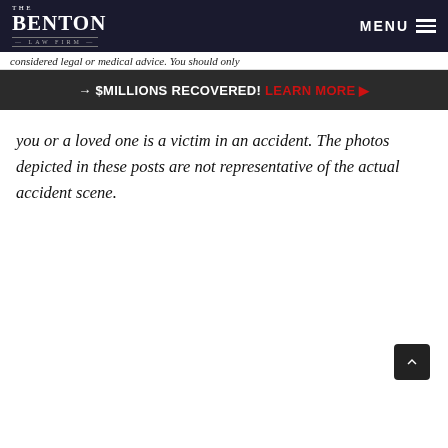The Benton Law Firm — MENU
considered legal or medical advice. You should only
→ $MILLIONS RECOVERED! LEARN MORE ▶
you or a loved one is a victim in an accident. The photos depicted in these posts are not representative of the actual accident scene.